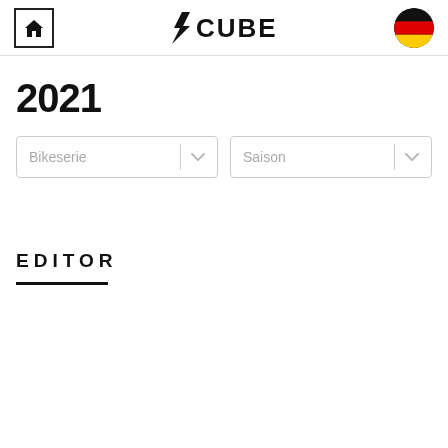CUBE bike configurator page header with home button, CUBE logo, and German flag
2021
Bikeserie dropdown
Saison dropdown
EDITOR